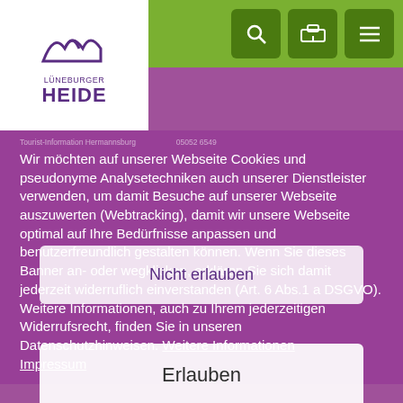[Figure (logo): Lüneburger Heide logo with stylized hills icon, white background, purple text]
Wir möchten auf unserer Webseite Cookies und pseudonyme Analysetechniken auch unserer Dienstleister verwenden, um damit Besuche auf unserer Webseite auszuwerten (Webtracking), damit wir unsere Webseite optimal auf Ihre Bedürfnisse anpassen und benutzerfreundlich gestalten können. Wenn Sie dieses Banner an- oder wegklicken, erklären Sie sich damit jederzeit widerruflich einverstanden (Art. 6 Abs.1 a DSGVO). Weitere Informationen, auch zu Ihrem jederzeitigen Widerrufsrecht, finden Sie in unseren Datenschutzhinweisen. Weitere Informationen Impressum
Nicht erlauben
Erlauben